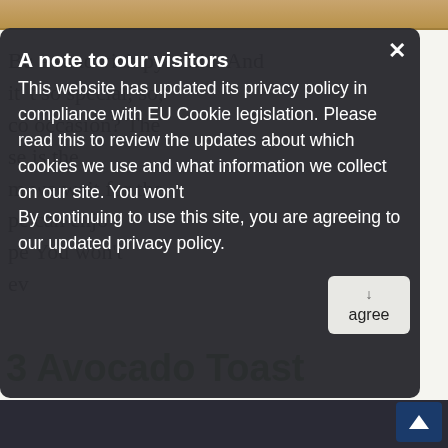[Figure (screenshot): Top portion of a food/recipe webpage showing an image strip at top with wooden surface, background article text partially visible, and a green heading '3 Avocado Toast' near the bottom.]
A note to our visitors

This website has updated its privacy policy in compliance with EU Cookie legislation. Please read this to review the updates about which cookies we use and what information we collect on our site. By continuing to use this site, you are agreeing to our updated privacy policy.